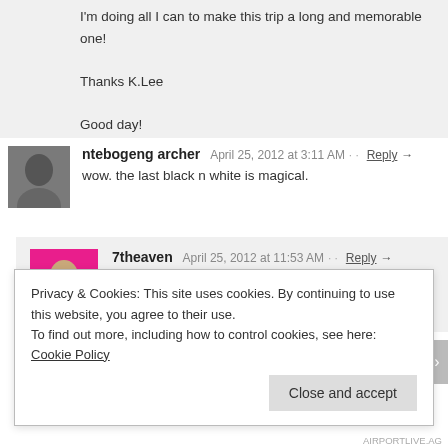I'm doing all I can to make this trip a long and memorable one!

Thanks K.Lee

Good day!
ntebogeng archer  April 25, 2012 at 3:11 AM  Reply →
wow. the last black n white is magical.
7theaven  April 25, 2012 at 11:53 AM  Reply →
indeed, Train Station, Mumbai, the atmosphere there, unique
Privacy & Cookies: This site uses cookies. By continuing to use this website, you agree to their use.
To find out more, including how to control cookies, see here: Cookie Policy
Close and accept